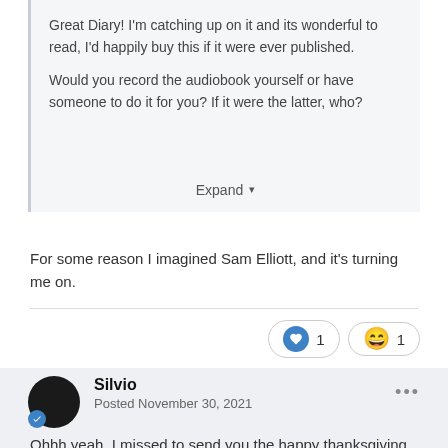Great Diary!  I'm catching up on it and its wonderful to read, I'd happily buy this if it were ever published.

Would you record the audiobook yourself or have someone to do it for you? If it were the latter, who?
Expand ▾
For some reason I imagined Sam Elliott, and it's turning me on.
Silvio
Posted November 30, 2021
Ohhh yeah,  I missed to send you the happy thanksgiving day, to olate I  but i hope you had a nice one!